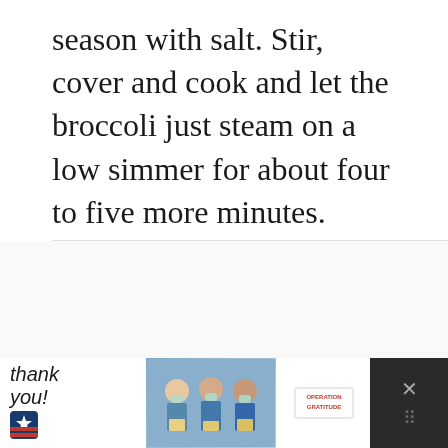season with salt. Stir, cover and cook and let the broccoli just steam on a low simmer for about four to five more minutes.
[Figure (screenshot): Slide area with dots and UI buttons: a red heart/favorite button, a gray share button, and a 'What's Next' card showing 'Sautéed Kale Tossed With...' with a food image thumbnail]
[Figure (photo): Advertisement banner: 'Thank you!' handwritten text with American flag star, photo of three healthcare workers in masks holding boxes, Operation Gratitude logo]